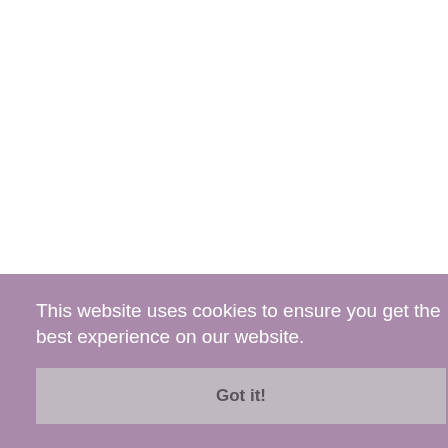[Figure (other): White background area with a light gray circle in the center-bottom portion]
This website uses cookies to ensure you get the best experience on our website.
Got it!